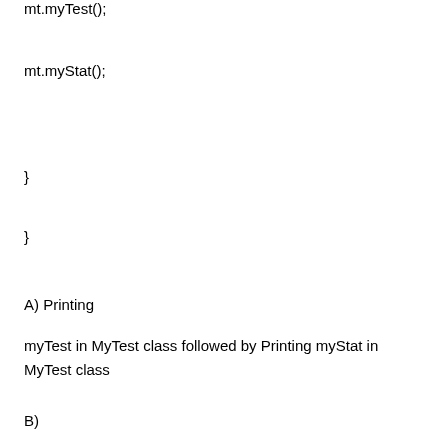mt.myTest();
mt.myStat();
}
}
A) Printing
myTest in MyTest class followed by Printing myStat in MyTest class
B)